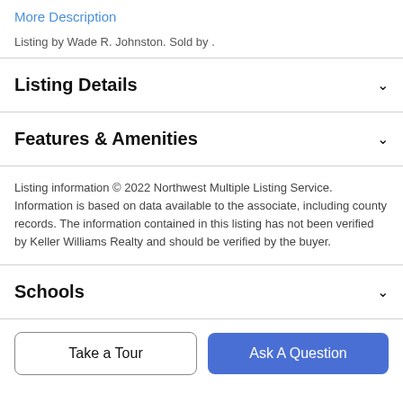More Description
Listing by Wade R. Johnston. Sold by .
Listing Details
Features & Amenities
Listing information © 2022 Northwest Multiple Listing Service. Information is based on data available to the associate, including county records. The information contained in this listing has not been verified by Keller Williams Realty and should be verified by the buyer.
Schools
Take a Tour
Ask A Question